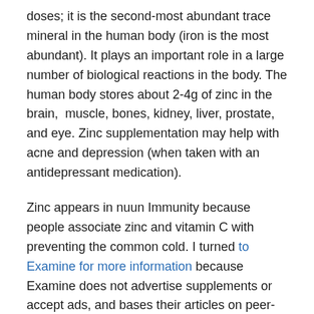doses; it is the second-most abundant trace mineral in the human body (iron is the most abundant). It plays an important role in a large number of biological reactions in the body. The human body stores about 2-4g of zinc in the brain, muscle, bones, kidney, liver, prostate, and eye. Zinc supplementation may help with acne and depression (when taken with an antidepressant medication).
Zinc appears in nuun Immunity because people associate zinc and vitamin C with preventing the common cold. I turned to Examine for more information because Examine does not advertise supplements or accept ads, and bases their articles on peer-reviewed science. I also really like that each article includes a chart showing the claims and the evidence to support it. HIGHLY recommend you bookmark it.
High dose zinc lozenges appear to reduce the duration of